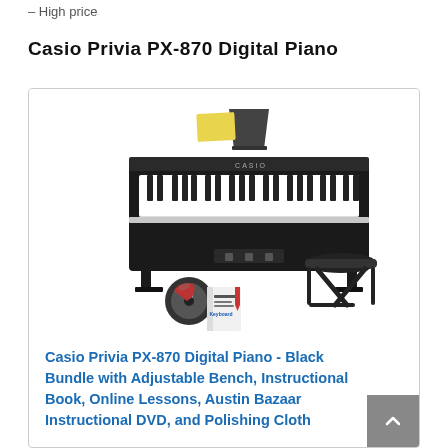– High price
Casio Privia PX-870 Digital Piano
[Figure (photo): Photo of Casio Privia PX-870 Digital Piano in black, shown with adjustable bench, instructional book, DVD, and accessories.]
Casio Privia PX-870 Digital Piano - Black Bundle with Adjustable Bench, Instructional Book, Online Lessons, Austin Bazaar Instructional DVD, and Polishing Cloth